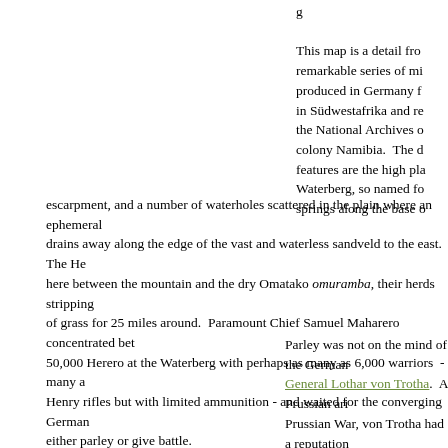This map is a detail from a remarkable series of mi produced in Germany f in Südwestafrika and re the National Archives o colony Namibia. The d features are the high pla Waterberg, so named fo springs along the base escarpment, and a number of waterholes scattered in the plain where an ephemeral drains away along the edge of the vast and waterless sandveld to the east. The Hera here between the mountain and the dry Omatako omuramba, their herds stripping of grass for 25 miles around. Paramount Chief Samuel Maharero concentrated bet 50,000 Herero at the Waterberg with perhaps as many as 6,000 warriors - many an Henry rifles but with limited ammunition - and waited for the converging German either parley or give battle.
Parley was not on the mind of the German General Lothar von Trotha. A Prussian aris Prussian War, von Trotha had a reputation uprisings in East Africa and served during Germany's East Asian Expedition Corps. T German Southwest Africa in May and arriv Schutztruppe or "protection corps" that had felt that colonial Governor Leutwein and th seriously." He planned to put down the up the Waterberg offered him that opportunity